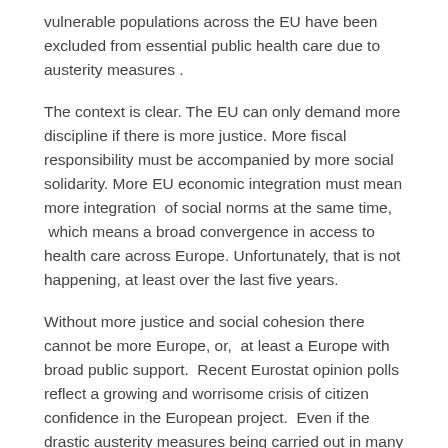vulnerable populations across the EU have been excluded from essential public health care due to austerity measures .
The context is clear. The EU can only demand more discipline if there is more justice. More fiscal responsibility must be accompanied by more social solidarity. More EU economic integration must mean more integration  of social norms at the same time,  which means a broad convergence in access to health care across Europe. Unfortunately, that is not happening, at least over the last five years.
Without more justice and social cohesion there cannot be more Europe, or,  at least a Europe with broad public support.  Recent Eurostat opinion polls reflect a growing and worrisome crisis of citizen confidence in the European project.  Even if the drastic austerity measures being carried out in many EU countries, including my own, Spain,  someday regain the confidence of financial markets, we risk losing the confidence of a large proportion of Europeans.   If we choose to ignore the political and human costs of weakening our education, health and social